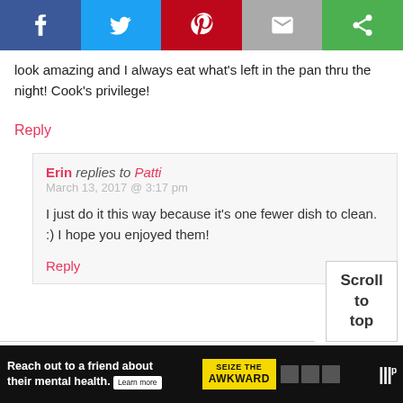[Figure (other): Social sharing bar with Facebook, Twitter, Pinterest, email, and a green share button icons]
look amazing and I always eat what's left in the pan thru the night! Cook's privilege!
Reply
Erin replies to Patti
March 13, 2017 @ 3:17 pm
I just do it this way because it's one fewer dish to clean. :) I hope you enjoyed them!
Reply
Scroll
to
top
[Figure (other): Ad banner: Reach out to a friend about their mental health. Learn more. Seize the Awkward.]